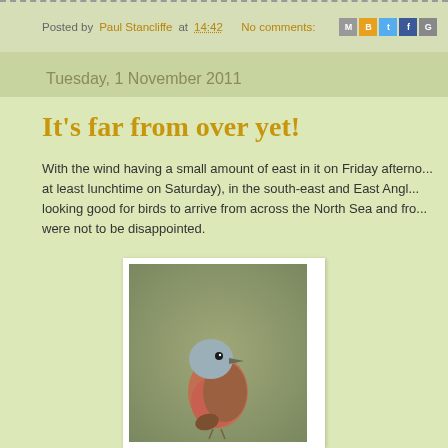Posted by Paul Stancliffe at 14:42   No comments:
Tuesday, 1 November 2011
It's far from over yet!
With the wind having a small amount of east in it on Friday afternoon (and at least lunchtime on Saturday), in the south-east and East Anglia it was looking good for birds to arrive from across the North Sea and from... were not to be disappointed.
[Figure (photo): A small bird with reddish-pink breast and grey head perched, photographed against a blurred green-brown background]